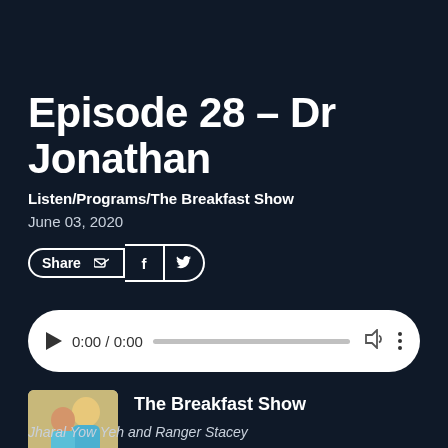Episode 28 – Dr Jonathan
Listen/Programs/The Breakfast Show
June 03, 2020
[Figure (screenshot): Audio player widget with play button, time display 0:00 / 0:00, progress bar, volume icon, and more options icon]
[Figure (photo): Thumbnail photo of two people, hosts of The Breakfast Show]
The Breakfast Show
Jharal Yow Yeh and Ranger Stacey